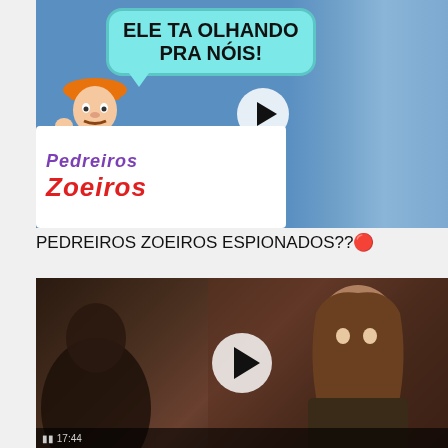[Figure (screenshot): Animated video thumbnail showing a cartoon construction worker with an orange hard hat and yellow shirt with a speech bubble saying 'ELE TA OLHANDO PRA NÓIS!' and the logo 'Pedreiros Zoeiros' in the lower left, with a blurred figure on the right and a play button overlay]
PEDREIROS ZOEIROS ESPIONADOS??🔴
[Figure (screenshot): Video thumbnail showing two people in what appears to be a medieval/fantasy setting, one facing away and one facing camera with long hair and armor, with a play button overlay and a dark bottom bar with timestamp]